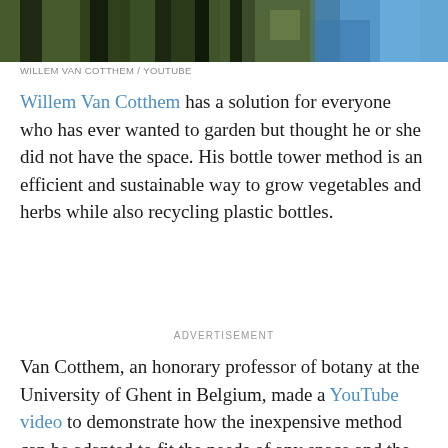[Figure (photo): Outdoor photo strip showing plants/garden scene with blue object, color blurred background]
WILLEM VAN COTTHEM / YOUTUBE
Willem Van Cotthem has a solution for everyone who has ever wanted to garden but thought he or she did not have the space. His bottle tower method is an efficient and sustainable way to grow vegetables and herbs while also recycling plastic bottles.
ADVERTISEMENT
Van Cotthem, an honorary professor of botany at the University of Ghent in Belgium, made a YouTube video to demonstrate how the inexpensive method can be adapted to fit the needs of any space and the wishes of any grower.
To construct Van Cotthem's bottle tower garden, you need recyclable containers such as plastic bottles, pots, and